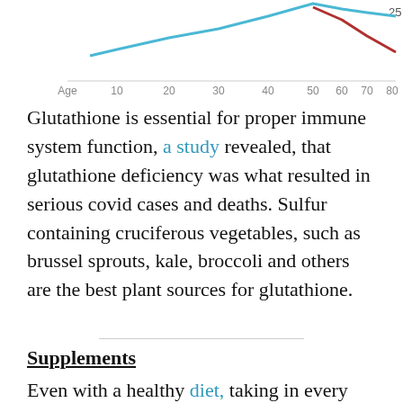[Figure (continuous-plot): Partial line chart visible at top of page showing two lines (blue and red/dark red) plotted against Age axis (10 to 80). The y-axis label '25' is visible on the right. The blue line rises to a peak around age 50 then levels; the dark red line descends steeply from around age 50 onward.]
Glutathione is essential for proper immune system function, a study revealed, that glutathione deficiency was what resulted in serious covid cases and deaths. Sulfur containing cruciferous vegetables, such as brussel sprouts, kale, broccoli and others are the best plant sources for glutathione.
Supplements
Even with a healthy diet, taking in every